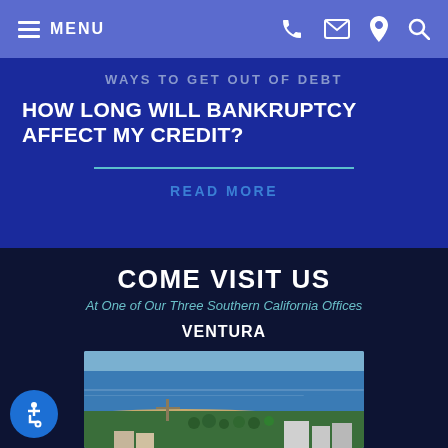MENU [nav icons: phone, mail, location, search]
WAYS TO GET OUT OF DEBT
HOW LONG WILL BANKRUPTCY AFFECT MY CREDIT?
READ MORE
COME VISIT US
At One of Our Three Southern California Offices
VENTURA
[Figure (photo): Aerial view of Ventura, California coastline showing beach, harbor, and city buildings with ocean in background]